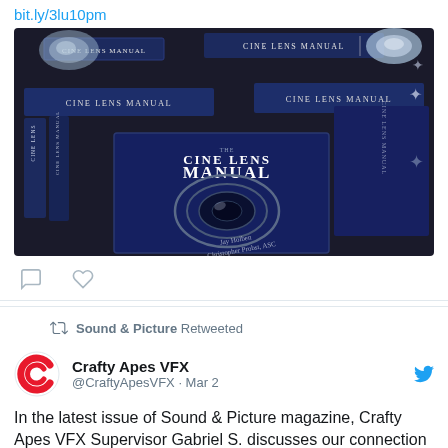bit.ly/3lu10pm
[Figure (photo): Multiple copies of the 'Cine Lens Manual' book by Jay Holben and Christopher Probst ASC, stacked on a dark surface. The books are dark navy blue with the title in white text.]
Sound & Picture Retweeted
Crafty Apes VFX
@CraftyApesVFX · Mar 2
In the latest issue of Sound & Picture magazine, Crafty Apes VFX Supervisor Gabriel S. discusses our connection to the...